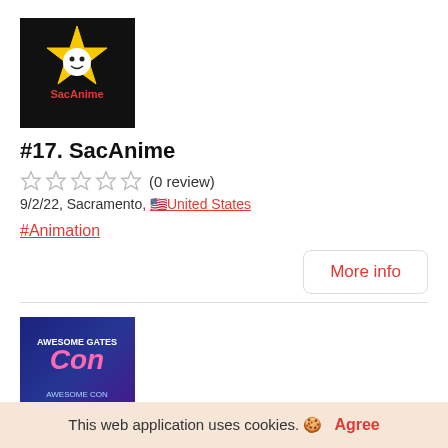[Figure (logo): SacAnime logo — black background with yellow star/flower character and red text 'SacAnime']
#17. SacAnime
☆☆☆☆☆ (0 review)
9/2/22, Sacramento, 🇺🇸United States
#Animation
More info
[Figure (logo): Awesome Con logo — blue/purple gradient background with stylized 'Con' text in pink/white]
#18. Awesome Con
☆☆☆☆☆ (0 review)
This web application uses cookies. 🍪
Agree